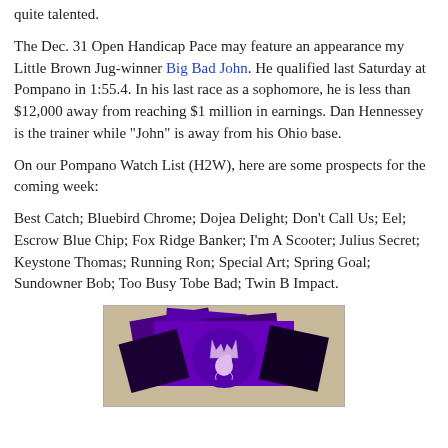quite talented.
The Dec. 31 Open Handicap Pace may feature an appearance my Little Brown Jug-winner Big Bad John. He qualified last Saturday at Pompano in 1:55.4. In his last race as a sophomore, he is less than $12,000 away from reaching $1 million in earnings. Dan Hennessey is the trainer while “John” is away from his Ohio base.
On our Pompano Watch List (H2W), here are some prospects for the coming week:
Best Catch; Bluebird Chrome; Dojea Delight; Don’t Call Us; Eel; Escrow Blue Chip; Fox Ridge Banker; I’m A Scooter; Julius Secret; Keystone Thomas; Running Ron; Special Art; Spring Goal; Sundowner Bob; Too Busy Tobe Bad; Twin B Impact.
[Figure (photo): Photo of purple and black decorative items with a horse/animal emblem or logo visible in the center, displayed on a textured beige background.]